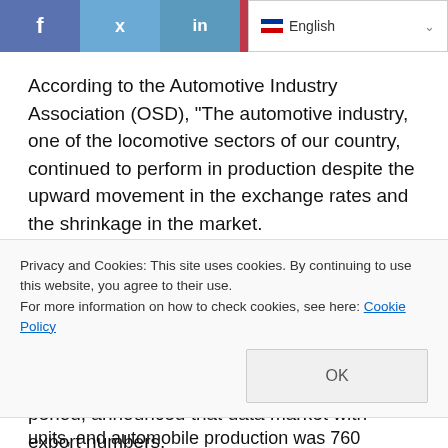[Figure (screenshot): Social media sharing bar with Facebook (f), Twitter (bird), LinkedIn (in), Pinterest (p) buttons, plus two grey buttons, and an English language selector dropdown on the right.]
According to the Automotive Industry Association (OSD), “The automotive industry, one of the locomotive sectors of our country, continued to perform in production despite the upward movement in the exchange rates and the shrinkage in the market.
Turkey OSD is the umbrella organization of the sector with the largest member of the automotive industry in giving directions 14, 2018 years of production January-September period, announced that data market with export numbers.
Privacy and Cookies: This site uses cookies. By continuing to use this website, you agree to their use.
For more information on how to check cookies, see here: Cookie Policy
units, and automobile production was 760 thousand 464 units